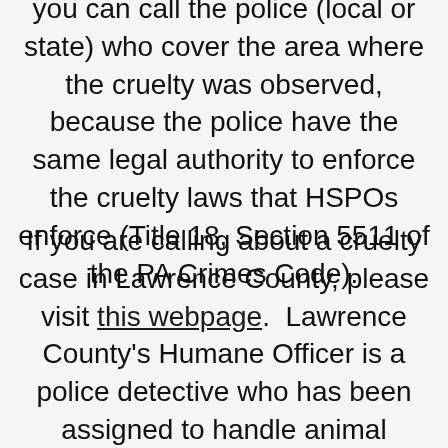you can call the police (local or state) who cover the area where the cruelty was observed, because the police have the same legal authority to enforce the cruelty laws that HSPOs enforce (Title 18, Section 5511 of the PA Crimes Code).
If you are calling about a cruelty case in Lawrence County, please visit this webpage. Lawrence County's Humane Officer is a police detective who has been assigned to handle animal cruelty cases. You can also call their Animal Abuse Hotline at 855.870.8081.